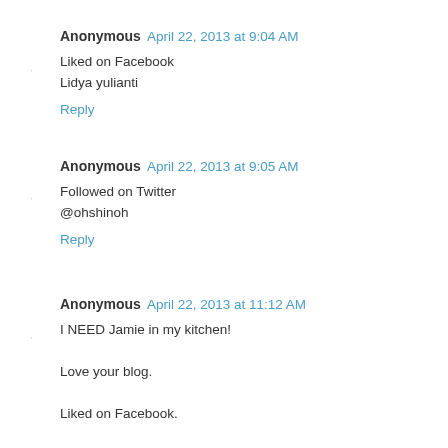Anonymous  April 22, 2013 at 9:04 AM
Liked on Facebook
Lidya yulianti
Reply
Anonymous  April 22, 2013 at 9:05 AM
Followed on Twitter
@ohshinoh
Reply
Anonymous  April 22, 2013 at 11:12 AM
I NEED Jamie in my kitchen!

Love your blog.

Liked on Facebook.